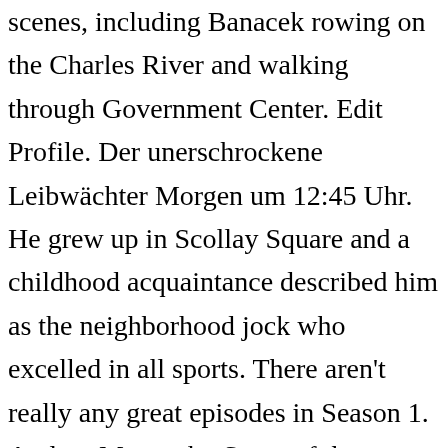scenes, including Banacek rowing on the Charles River and walking through Government Center. Edit Profile. Der unerschrockene Leibwächter Morgen um 12:45 Uhr. He grew up in Scollay Square and a childhood acquaintance described him as the neighborhood jock who excelled in all sports. There aren't really any great episodes in Season 1. Audrey Manacek . Some of the technologies we use are necessary for critical functions like security and site integrity, account authentication, security and privacy preferences,